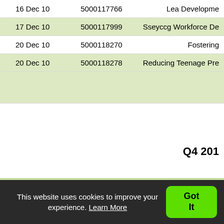| Date | Transaction | Service Area |
| --- | --- | --- |
| 16 Dec 10 | 5000117766 | Lea Developme... |
| 17 Dec 10 | 5000117999 | Sseyccg Workforce De... |
| 20 Dec 10 | 5000118270 | Fostering |
| 20 Dec 10 | 5000118278 | Reducing Teenage Pre... |
|  |  |  |
Q4 201...
| Date | Transaction | Service Area |
| --- | --- | --- |
| 5 Jan 11 | 5000119805 | Independent Sector... |
| 5 Jan 11 | 5000119670 | Independent Sector... |
| 6 Jan 11 | 5000119974 | Integrated Wor... |
| 6 Jan 11 | 5000120126 | Homecare Domicilia... |
This website uses cookies to improve your experience. Learn More